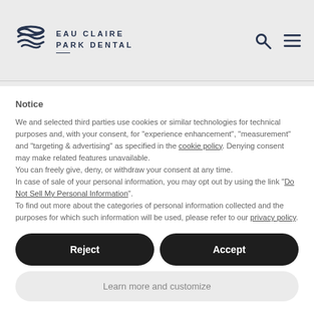EAU CLAIRE PARK DENTAL
pick up some sparkling water
Notice
We and selected third parties use cookies or similar technologies for technical purposes and, with your consent, for "experience enhancement", "measurement" and "targeting & advertising" as specified in the cookie policy. Denying consent may make related features unavailable.
You can freely give, deny, or withdraw your consent at any time.
In case of sale of your personal information, you may opt out by using the link "Do Not Sell My Personal Information".
To find out more about the categories of personal information collected and the purposes for which such information will be used, please refer to our privacy policy.
Reject
Accept
Learn more and customize